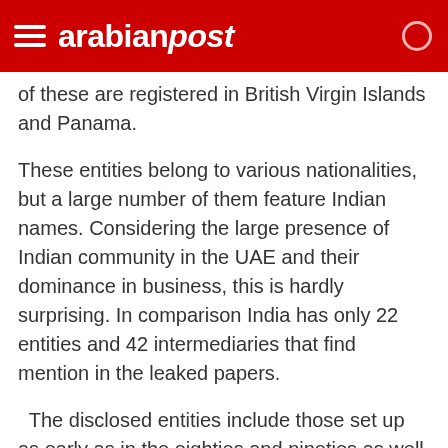arabian post
of these are registered in British Virgin Islands and Panama.
These entities belong to various nationalities, but a large number of them feature Indian names. Considering the large presence of Indian community in the UAE and their dominance in business, this is hardly surprising. In comparison India has only 22 entities and 42 intermediaries that find mention in the leaked papers.
The disclosed entities include those set up as early as in the eighties and nineties as well as businesses incorporated as late as last year.  The entities and intermediaries include some prominent businessmen associated with the gold trade and other traditional businesses, apart from free zone